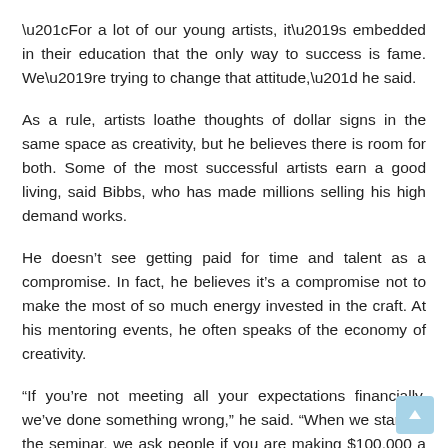“For a lot of our young artists, it’s embedded in their education that the only way to success is fame. We’re trying to change that attitude,” he said.
As a rule, artists loathe thoughts of dollar signs in the same space as creativity, but he believes there is room for both. Some of the most successful artists earn a good living, said Bibbs, who has made millions selling his high demand works.
He doesn’t see getting paid for time and talent as a compromise. In fact, he believes it’s a compromise not to make the most of so much energy invested in the craft. At his mentoring events, he often speaks of the economy of creativity.
“If you’re not meeting all your expectations financially, we’ve done something wrong,” he said. “When we start off the seminar, we ask people if you are making $100,000 a year, don’t come to the class because we can’t tell you anything.”